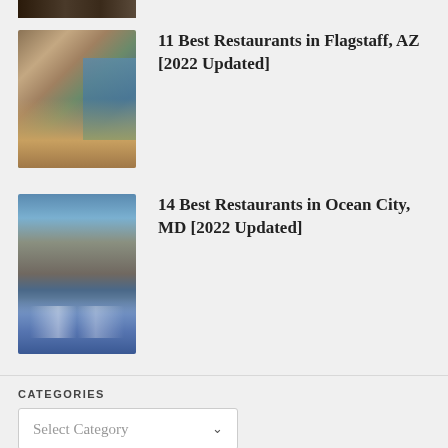[Figure (photo): Partially visible cropped photo at top of page, dark tones suggesting interior or food image]
[Figure (photo): Interior of an upscale restaurant dining room with warm tones, large windows showing outdoor scenery, tables with tablecloths]
11 Best Restaurants in Flagstaff, AZ [2022 Updated]
[Figure (photo): Interior of a bar/restaurant with blue flooring, bar stools, TV screens, and blue tile or carpet design]
14 Best Restaurants in Ocean City, MD [2022 Updated]
CATEGORIES
Select Category